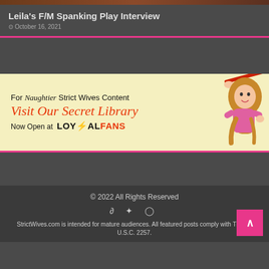Leila's F/M Spanking Play Interview
October 16, 2021
[Figure (illustration): Advertisement banner with light yellow background. Text reads: For Naughtier Strict Wives Content / Visit Our Secret Library / Now Open at LOYALFANS. Shows cartoon illustration of a woman with long blonde hair holding a red implement.]
© 2022 All Rights Reserved
StrictWives.com is intended for mature audiences. All featured posts comply with Title 18 U.S.C. 2257.